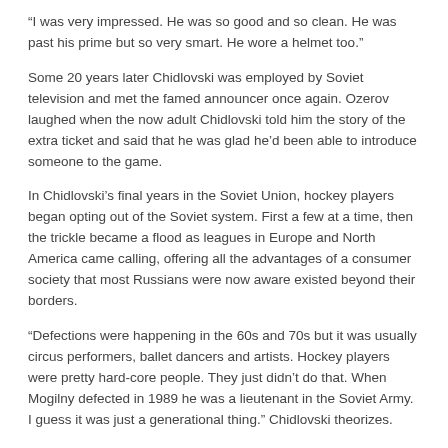“I was very impressed. He was so good and so clean. He was past his prime but so very smart. He wore a helmet too.”
Some 20 years later Chidlovski was employed by Soviet television and met the famed announcer once again. Ozerov laughed when the now adult Chidlovski told him the story of the extra ticket and said that he was glad he’d been able to introduce someone to the game.
In Chidlovski’s final years in the Soviet Union, hockey players began opting out of the Soviet system. First a few at a time, then the trickle became a flood as leagues in Europe and North America came calling, offering all the advantages of a consumer society that most Russians were now aware existed beyond their borders.
“Defections were happening in the 60s and 70s but it was usually circus performers, ballet dancers and artists. Hockey players were pretty hard-core people. They just didn’t do that. When Mogilny defected in 1989 he was a lieutenant in the Soviet Army. I guess it was just a generational thing.” Chidlovski theorizes.
In the years to come, data from the 1979 re-investigation and...